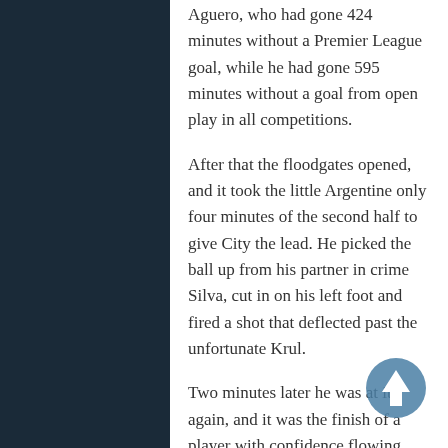Aguero, who had gone 424 minutes without a Premier League goal, while he had gone 595 minutes without a goal from open play in all competitions.
After that the floodgates opened, and it took the little Argentine only four minutes of the second half to give City the lead. He picked the ball up from his partner in crime Silva, cut in on his left foot and fired a shot that deflected past the unfortunate Krul.
Two minutes later he was at it again, and it was the finish of a player with confidence flowing through his veins. This time it was Belgian midfielder Kevin de Bruyne who slipped him in, and Aguero did the rest, delicately lifting the ball with one flick of
[Figure (other): Circular blue scroll-up button with upward arrow icon]